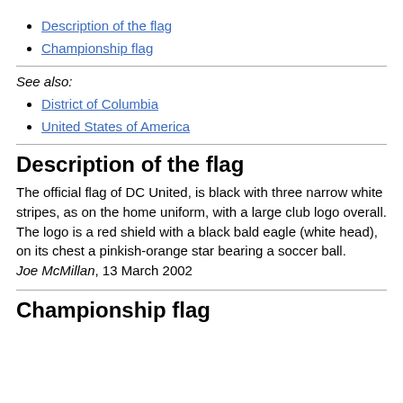Description of the flag
Championship flag
See also:
District of Columbia
United States of America
Description of the flag
The official flag of DC United, is black with three narrow white stripes, as on the home uniform, with a large club logo overall. The logo is a red shield with a black bald eagle (white head), on its chest a pinkish-orange star bearing a soccer ball.
Joe McMillan, 13 March 2002
Championship flag